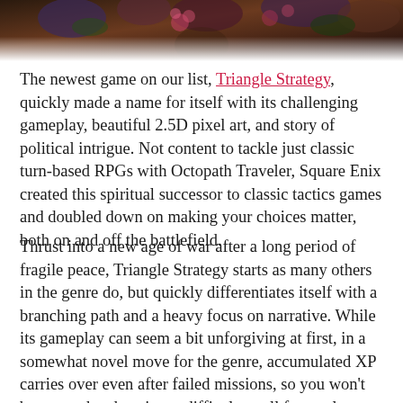[Figure (illustration): Decorative illustrated image at the top of the page showing colorful fantasy/anime-style artwork with flowers and characters, partially visible (cropped at top)]
The newest game on our list, Triangle Strategy, quickly made a name for itself with its challenging gameplay, beautiful 2.5D pixel art, and story of political intrigue. Not content to tackle just classic turn-based RPGs with Octopath Traveler, Square Enix created this spiritual successor to classic tactics games and doubled down on making your choices matter, both on and off the battlefield.
Thrust into a new age of war after a long period of fragile peace, Triangle Strategy starts as many others in the genre do, but quickly differentiates itself with a branching path and a heavy focus on narrative. While its gameplay can seem a bit unforgiving at first, in a somewhat novel move for the genre, accumulated XP carries over even after failed missions, so you won't beat your head against a difficulty wall for too long. Just bring some popcorn. You'll be in those cutscenes for a while!